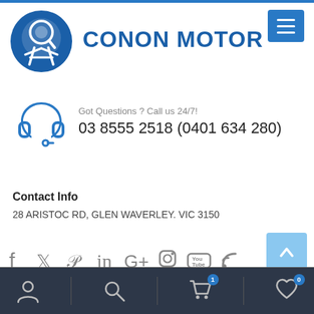[Figure (logo): Conon Motor circular logo with stylized figure and magnifying glass icon in dark blue]
CONON MOTOR
Got Questions ? Call us 24/7!
03 8555 2518 (0401 634 280)
Contact Info
28 ARISTOC RD, GLEN WAVERLEY. VIC 3150
[Figure (infographic): Social media icons: Facebook, Twitter, Pinterest, LinkedIn, Google+, Instagram, YouTube, RSS]
Bottom navigation bar with user, search, cart (1), and wishlist (0) icons